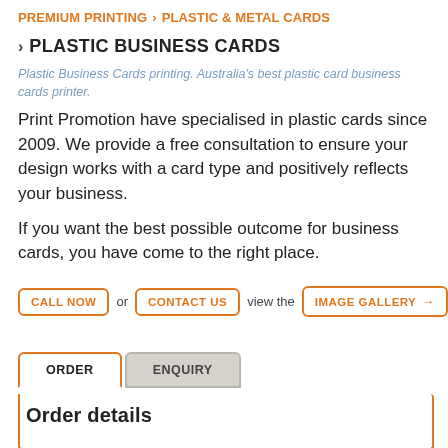PREMIUM PRINTING > PLASTIC & METAL CARDS
> PLASTIC BUSINESS CARDS
Plastic Business Cards printing. Australia's best plastic card business cards printer.
Print Promotion have specialised in plastic cards since 2009. We provide a free consultation to ensure your design works with a card type and positively reflects your business.
If you want the best possible outcome for business cards, you have come to the right place.
CALL NOW  or  CONTACT US  view the  IMAGE GALLERY →
ORDER   ENQUIRY
Order details